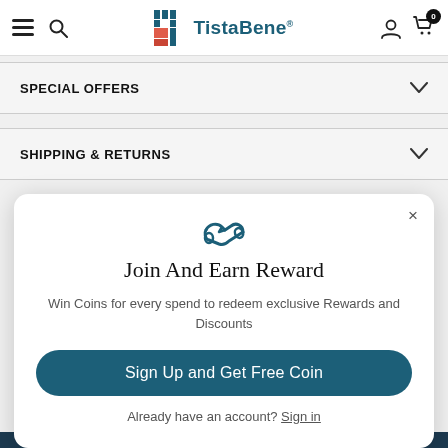TistaBene — navigation bar with menu, search, logo, user account, cart (0)
SPECIAL OFFERS
SHIPPING & RETURNS
Join And Earn Reward
Win Coins for every spend to redeem exclusive Rewards and Discounts
Sign Up and Get Free Coin
Already have an account? Sign in